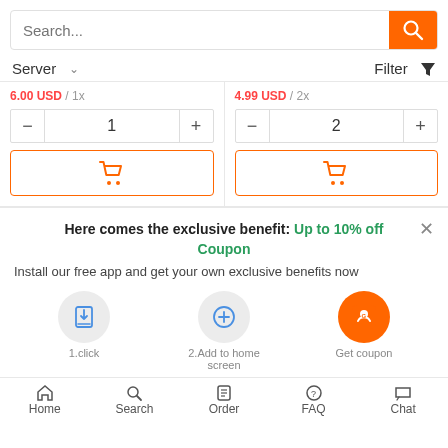[Figure (screenshot): Search bar with orange search button]
Server ∨   Filter ▼
6.00 USD / 1x
4.99 USD / 2x
1
2
Here comes the exclusive benefit: Up to 10% off Coupon
Install our free app and get your own exclusive benefits now
1.click
2.Add to home screen
Get coupon
Home    Search    Order    FAQ    Chat